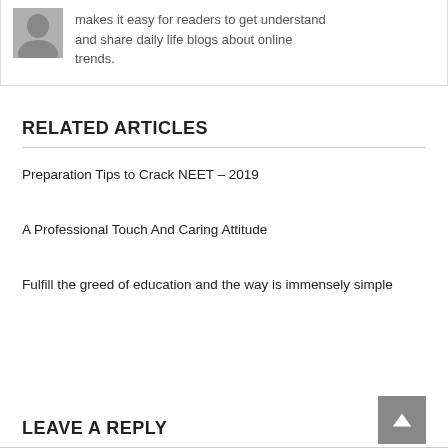makes it easy for readers to get understand and share daily life blogs about online trends.
RELATED ARTICLES
Preparation Tips to Crack NEET – 2019
A Professional Touch And Caring Attitude
Fulfill the greed of education and the way is immensely simple
LEAVE A REPLY